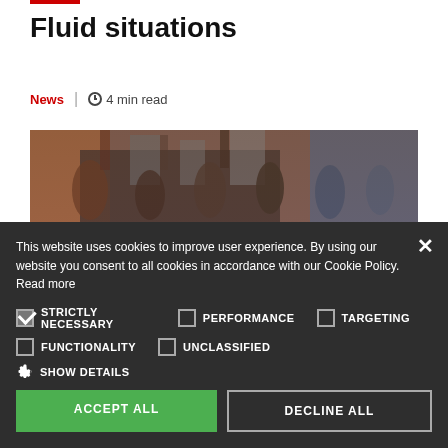Fluid situations
News | 4 min read
[Figure (photo): Blurred crowd photo showing protest or gathering scene]
This website uses cookies to improve user experience. By using our website you consent to all cookies in accordance with our Cookie Policy. Read more
STRICTLY NECESSARY [checked] | PERFORMANCE [unchecked] | TARGETING [unchecked] | FUNCTIONALITY [unchecked] | UNCLASSIFIED [unchecked]
SHOW DETAILS
ACCEPT ALL | DECLINE ALL